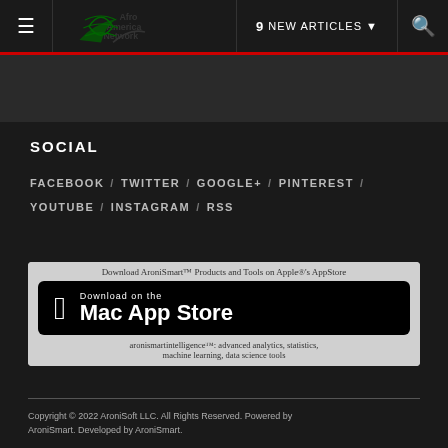≡  Afro America Network  |  9 NEW ARTICLES ∨  |  🔍
SOCIAL
FACEBOOK / TWITTER / GOOGLE+ / PINTEREST / YOUTUBE / INSTAGRAM / RSS
[Figure (other): Download AroniSmart™ Products and Tools on Apple®'s AppStore — Mac App Store download button with Apple logo. aronismartintelligence™: advanced analytics, statistics, machine learning, data science tools]
Copyright © 2022 AroniSoft LLC. All Rights Reserved. Powered by AroniSmart. Developed by AroniSmart.